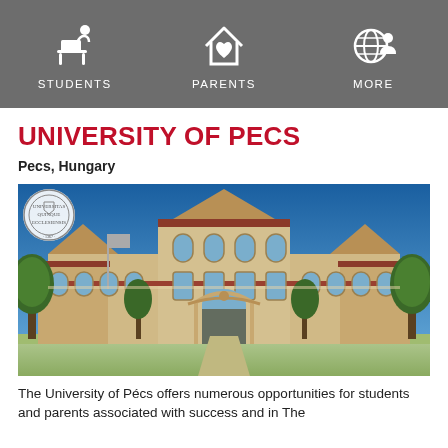STUDENTS   PARENTS   MORE
UNIVERSITY OF PECS
Pecs, Hungary
[Figure (photo): Photograph of the University of Pécs main building exterior, a historic multi-story brick and stone building with Gothic and Art Nouveau architectural features, arched entrance, tall windows, and trees on either side under a blue sky. A university seal/crest is overlaid in the upper left corner.]
The University of Pécs offers numerous opportunities for students and parents associated with success and in The